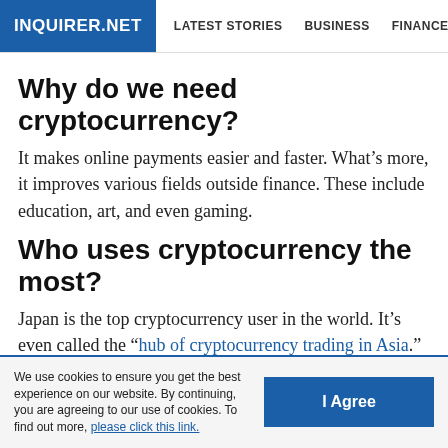INQUIRER.NET  LATEST STORIES  BUSINESS  FINANCE  TECHNOLO
Why do we need cryptocurrency?
It makes online payments easier and faster. What’s more, it improves various fields outside finance. These include education, art, and even gaming.
Who uses cryptocurrency the most?
Japan is the top cryptocurrency user in the world. It’s even called the “hub of cryptocurrency trading in Asia.” The United States and then Nigeria follow it.
If you are interested in content marketing, please email
We use cookies to ensure you get the best experience on our website. By continuing, you are agreeing to our use of cookies. To find out more, please click this link.